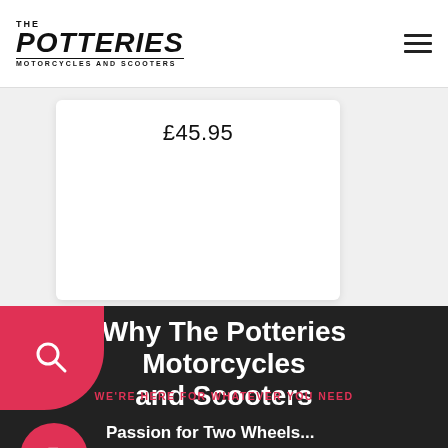The Potteries Motorcycles and Scooters
£45.95
[Figure (logo): Red search icon on rounded pink-red button]
Why The Potteries Motorcycles and Scooters
WE'RE HERE FOR WHATEVER YOU NEED
[Figure (illustration): Red circle with white motorcycle/scooter icon]
Passion for Two Wheels...
Motorcycles and scooters are our passion. From 50cc scooters to the biggest Harley cruiser's and anything in-between. WE LOVE BIKES!